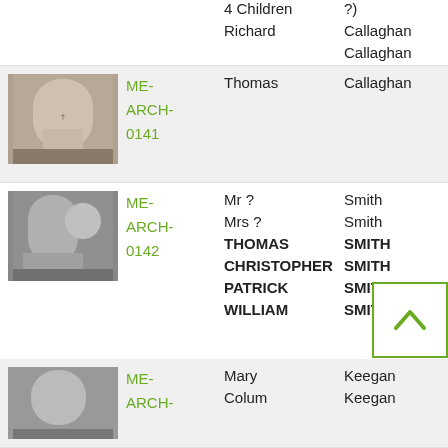| Photo | ID | Name | Surname |
| --- | --- | --- | --- |
|  |  | 4 Children | ? |
|  |  | Richard | Callaghan |
|  |  |  | Callaghan |
| [image] | ME-ARCH-0141 | Thomas | Callaghan |
| [image] | ME-ARCH-0142 | Mr ? | Smith |
|  |  | Mrs ? | Smith |
|  |  | THOMAS | SMITH |
|  |  | CHRISTOPHER | SMITH |
|  |  | PATRICK | SMITH |
|  |  | WILLIAM | SMITH |
| [image] | ME-ARCH- | Mary | Keegan |
|  |  | Colum | Keegan |